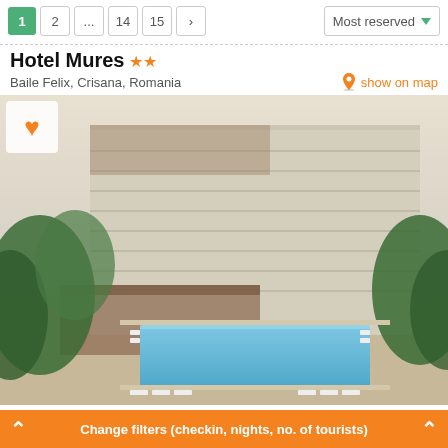1 2 ... 14 15 > Most reserved
Hotel Mures ★★
Baile Felix, Crisana, Romania
show on map
[Figure (photo): Exterior photo of Hotel Mures showing a large multi-story building with an outdoor swimming pool surrounded by lounge chairs and trees]
Change filters (checkin, nights, no. of tourists)